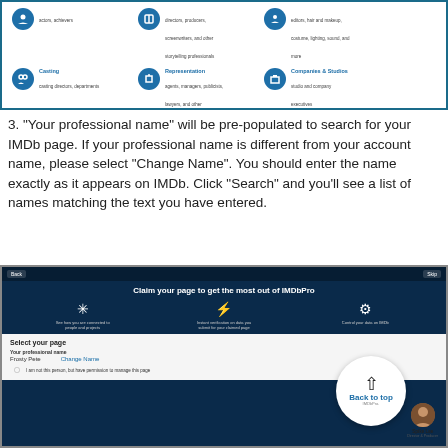[Figure (screenshot): Screenshot of IMDb Pro category selection interface showing icons for Casting (casting directors, departments), Representation (agents, managers, publicists, lawyers, and other representatives), and Companies & Studios (studio and company executives)]
3. "Your professional name" will be pre-populated to search for your IMDb page. If your professional name is different from your account name, please select "Change Name". You should enter the name exactly as it appears on IMDb. Click "Search" and you'll see a list of names matching the text you have entered.
[Figure (screenshot): Screenshot of IMDbPro 'Claim your page to get the most out of IMDbPro' screen showing features: See how you are connected to people and projects, Instant verification on data you submit for your claimed page, Control your data on IMDb. Below is 'Select your page' form with 'Your professional name' field showing 'Frosty Pete' with 'Change Name' link, and checkbox 'I am not this person, but have permission to manage this page'. Bottom right shows Spike Lee Director & Producer profile. A 'Back to top' button overlay is visible.]